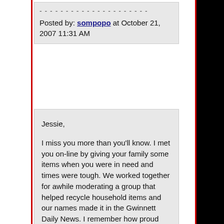Posted by: sompopo at October 21, 2007 11:31 AM
Jessie,

I miss you more than you'll know. I met you on-line by giving your family some items when you were in need and times were tough. We worked together for awhile moderating a group that helped recycle household items and our names made it in the Gwinnett Daily News. I remember how proud you were. Times were indeed very different. That�s when you guys